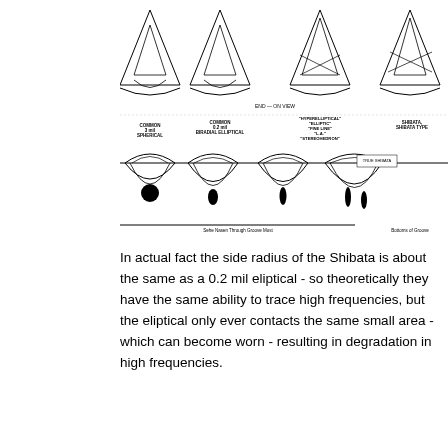[Figure (engineering-diagram): Technical diagram showing cross-sections of different stylus/needle types viewed from end and groove views. Top portion shows end-on views of stylus profiles with triangular/conical shapes. Bottom portion shows side views through groove of different stylus types: Common Spherical, Common 0.2 mil Biradial Elliptical, Hyperelliptical/Elliptic/Fine Line/Line Contact/Stereohedron, and Shibata Shibata Type. Shows contact patches as black shapes at bottom of groove. Labels indicate 'Sehe Nasen Through Groove Must' and 'Bottoms of Groove'.]
In actual fact the side radius of the Shibata is about the same as a 0.2 mil eliptical - so theoretically they have the same ability to trace high frequencies, but the eliptical only ever contacts the same small area - which can become worn - resulting in degradation in high frequencies.